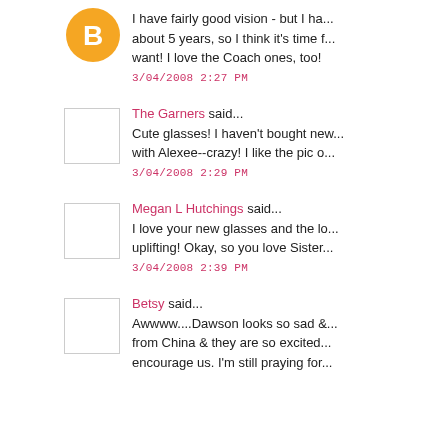I have fairly good vision - but I ha... about 5 years, so I think it's time f... want! I love the Coach ones, too!
3/04/2008 2:27 PM
The Garners said...
Cute glasses! I haven't bought new... with Alexee--crazy! I like the pic o...
3/04/2008 2:29 PM
Megan L Hutchings said...
I love your new glasses and the lo... uplifting! Okay, so you love Sister...
3/04/2008 2:39 PM
Betsy said...
Awwww....Dawson looks so sad &... from China & they are so excited... encourage us. I'm still praying for...